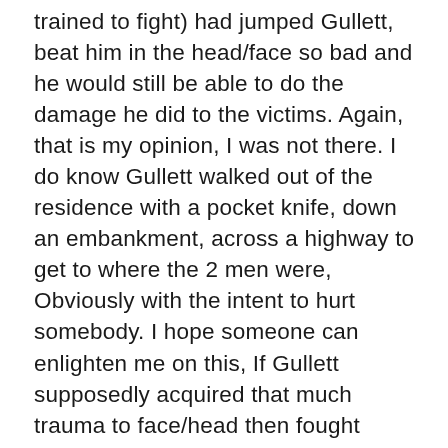trained to fight) had jumped Gullett, beat him in the head/face so bad and he would still be able to do the damage he did to the victims. Again, that is my opinion, I was not there. I do know Gullett walked out of the residence with a pocket knife, down an embankment, across a highway to get to where the 2 men were, Obviously with the intent to hurt somebody. I hope someone can enlighten me on this, If Gullett supposedly acquired that much trauma to face/head then fought them, and stabbing them multiple times I'm sure he should have been a little bum fuzzled,, So how was it after the two victims take off in the vehicle, he still managed to go back across the highway still holding his knife, go back up the embankment, back into the residence, wash his knife and hands then give a statement to cops that he was the one that had been jumped by Maynard and Fannin. The police stated Gullett boasted to Maynard via text